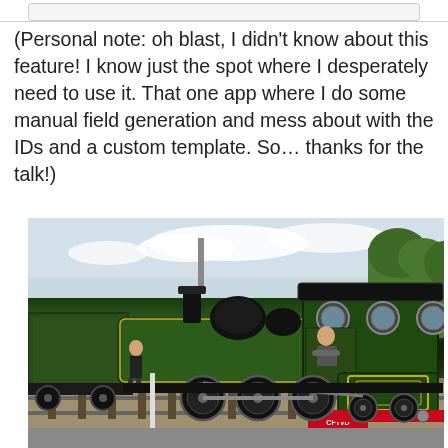(Personal note: oh blast, I didn't know about this feature! I know just the spot where I desperately need to use it. That one app where I do some manual field generation and mess about with the IDs and a custom template. So… thanks for the talk!)
[Figure (photo): A vintage green steam locomotive (CFTVD) on railway tracks, with a person leaning out of the cab window and another person standing on the left side. Trees visible in background.]